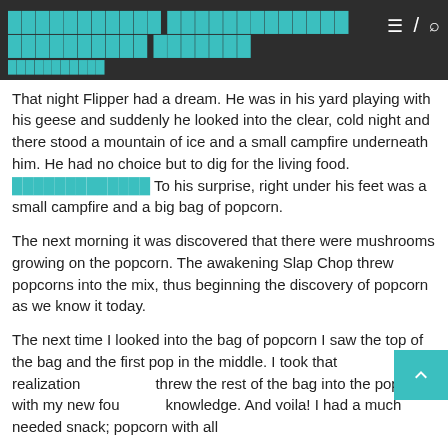[Redacted title line 1] [Redacted title line 2]
[Redacted subtitle]
That night Flipper had a dream. He was in his yard playing with his geese and suddenly he looked into the clear, cold night and there stood a mountain of ice and a small campfire underneath him. He had no choice but to dig for the living food. [redacted link] To his surprise, right under his feet was a small campfire and a big bag of popcorn.
The next morning it was discovered that there were mushrooms growing on the popcorn. The awakening Slap Chop threw popcorns into the mix, thus beginning the discovery of popcorn as we know it today.
The next time I looked into the bag of popcorn I saw the top of the bag and the first pop in the middle. I took that realization and threw the rest of the bag into the popper with my new found knowledge. And voila! I had a much needed snack; popcorn with all